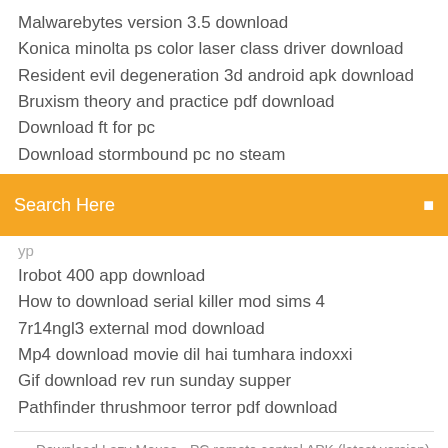Malwarebytes version 3.5 download
Konica minolta ps color laser class driver download
Resident evil degeneration 3d android apk download
Bruxism theory and practice pdf download
Download ft for pc
Download stormbound pc no steam
[Figure (screenshot): Orange search bar with text 'Search Here' and a small icon on the right]
(partially visible item above)
Irobot 400 app download
How to download serial killer mod sims 4
7r14ngl3 external mod download
Mp4 download movie dil hai tumhara indoxxi
Gif download rev run sunday supper
Pathfinder thrushmoor terror pdf download
Download Lazy Mouse - PC remote control APK (latest version) for Samsung, Huawei, Xiaomi, LG, HTC, Lenovo and all other